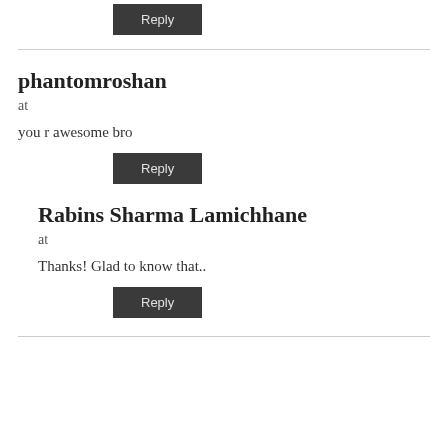Reply
phantomroshan
at
you r awesome bro
Reply
Rabins Sharma Lamichhane
at
Thanks! Glad to know that..
Reply